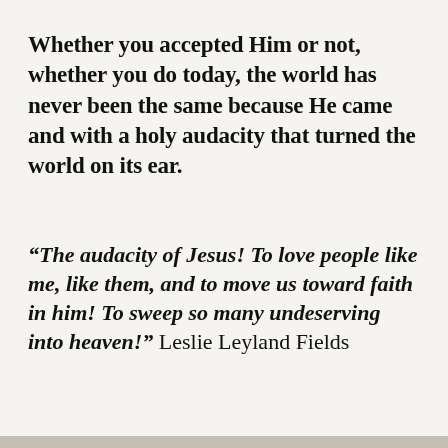Whether you accepted Him or not, whether you do today, the world has never been the same because He came and with a holy audacity that turned the world on its ear.
“The audacity of Jesus! To love people like me, like them, and to move us toward faith in him! To sweep so many undeserving into heaven!” Leslie Leyland Fields